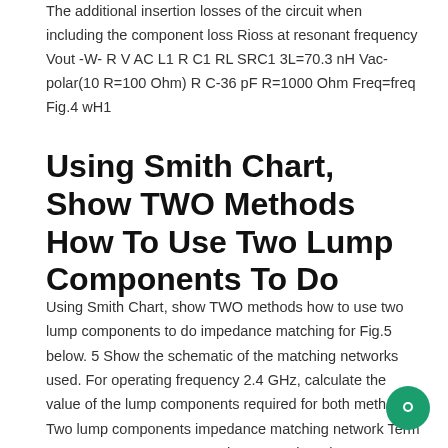The additional insertion losses of the circuit when including the component loss Rioss at resonant frequency Vout -W- R V AC L1 R C1 RL SRC1 3L=70.3 nH Vac-polar(10 R=100 Ohm) R C-36 pF R=1000 Ohm Freq=freq Fig.4 wH1
Using Smith Chart, Show TWO Methods How To Use Two Lump Components To Do
Using Smith Chart, show TWO methods how to use two lump components to do impedance matching for Fig.5 below. 5 Show the schematic of the matching networks used. For operating frequency 2.4 GHz, calculate the value of the lump components required for both methods. Two lump components impedance matching network Term R PORT RL Num 1 R 150 Ohm Z-50 Ohm Fig. 5 LC